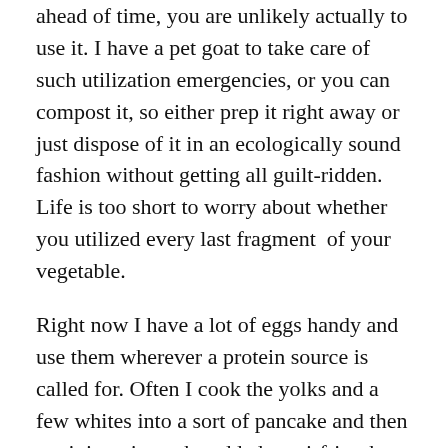ahead of time, you are unlikely actually to use it. I have a pet goat to take care of such utilization emergencies, or you can compost it, so either prep it right away or just dispose of it in an ecologically sound fashion without getting all guilt-ridden. Life is too short to worry about whether you utilized every last fragment  of your vegetable.
Right now I have a lot of eggs handy and use them wherever a protein source is called for. Often I cook the yolks and a few whites into a sort of pancake and then cut it in strips to be added to stirfries, but in this case I didn't want to bother and just scrambled two eggs and two yolks with some soy sauce and scallions in the wok and put them in a bowl to be added back to the stirfry later. This is much like the way that eggs are added to fried rice, and you can see in the photo above that it is not pretty and